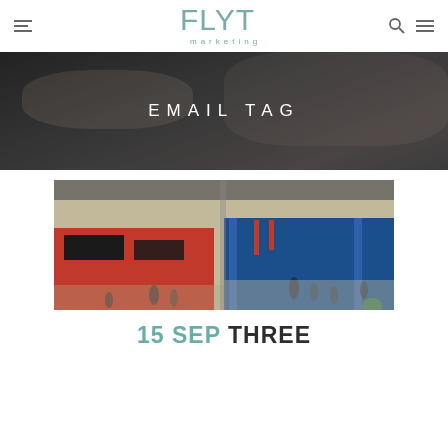FLYT marketing
EMAIL TAG
[Figure (photo): Aerial view of a busy trade show or exhibition floor with red and blue exhibition stands and crowds of people walking between them.]
15 SEP THREE